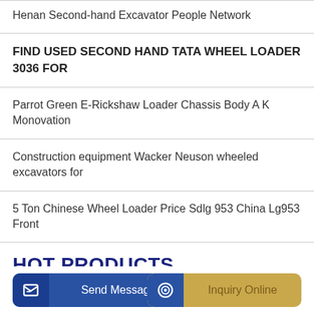Henan Second-hand Excavator People Network
FIND USED SECOND HAND TATA WHEEL LOADER 3036 FOR
Parrot Green E-Rickshaw Loader Chassis Body A K Monovation
Construction equipment Wacker Neuson wheeled excavators for
5 Ton Chinese Wheel Loader Price Sdlg 953 China Lg953 Front
HOT PRODUCTS
Send Message
Inquiry Online